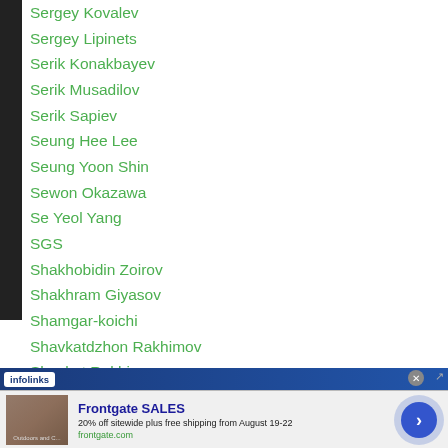Sergey Kovalev
Sergey Lipinets
Serik Konakbayev
Serik Musadilov
Serik Sapiev
Seung Hee Lee
Seung Yoon Shin
Sewon Okazawa
Se Yeol Yang
SGS
Shakhobidin Zoirov
Shakhram Giyasov
Shamgar-koichi
Shavkatdzhon Rakhimov
Shavkat Rakhimov
Sh... Oda
[Figure (screenshot): Infolinks ad banner with Frontgate SALES advertisement. Text: Frontgate SALES, 20% off sitewide plus free shipping from August 19-22, frontgate.com]